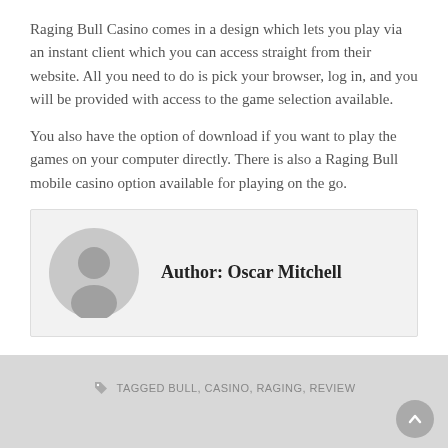Raging Bull Casino comes in a design which lets you play via an instant client which you can access straight from their website. All you need to do is pick your browser, log in, and you will be provided with access to the game selection available.
You also have the option of download if you want to play the games on your computer directly. There is also a Raging Bull mobile casino option available for playing on the go.
Author: Oscar Mitchell
TAGGED BULL, CASINO, RAGING, REVIEW